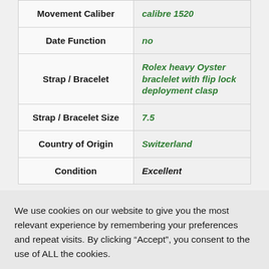| Attribute | Value |
| --- | --- |
| Movement Caliber | calibre 1520 |
| Date Function | no |
| Strap / Bracelet | Rolex heavy Oyster braclelet with flip lock deployment clasp |
| Strap / Bracelet Size | 7.5 |
| Country of Origin | Switzerland |
| Condition | Excellent |
We use cookies on our website to give you the most relevant experience by remembering your preferences and repeat visits. By clicking “Accept”, you consent to the use of ALL the cookies.